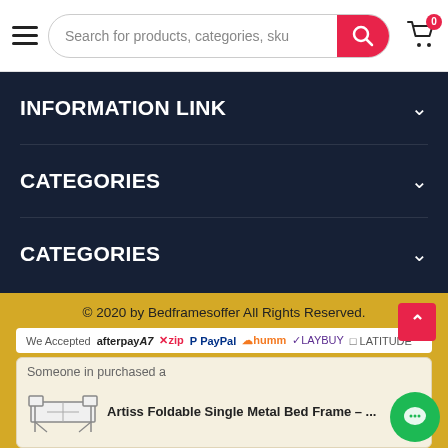Search for products, categories, sku
INFORMATION LINK
CATEGORIES
CATEGORIES
© 2020 by Bedframesoffer All Rights Reserved.
We Accepted  afterpayA7  zip  PayPal  humm  LAYBUY  LATITUDE
Someone in purchased a
Artiss Foldable Single Metal Bed Frame – ...